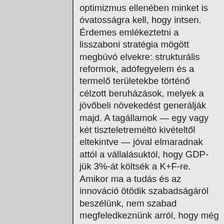optimizmus ellenében minket is óvatosságra kell, hogy intsen. Érdemes emlékeztetni a lisszaboni stratégia mögött megbúvó elvekre: strukturális reformok, adófegyelem és a termelő területekbe történő célzott beruházások, melyek a jövőbeli növekedést generálják majd. A tagállamok — egy vagy két tiszteletreméltó kivételtől eltekintve — jóval elmaradnak attól a vállalásuktól, hogy GDP-jük 3%-át költsék a K+F-re. Amikor ma a tudás és az innováció ötödik szabadságáról beszélünk, nem szabad megfeledkeznünk arról, hogy még az eredeti négy szabadságot sem sikerült teljes mértékben megvalósítanunk, különösen ami a munkavállalók és a szolgáltatások egész Európában való szabad mozgását illeti. Végezetül a kkv-k támogatását helyénvalóan határozzák meg a gazdasági növekedés és innováció